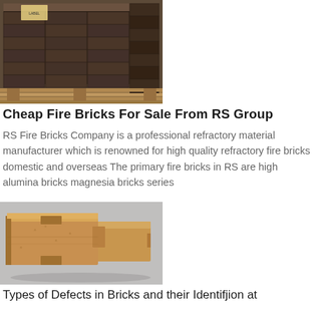[Figure (photo): Stack of dark fire bricks/refractory tiles on a wooden pallet, viewed from the side at an angle]
Cheap Fire Bricks For Sale From RS Group
RS Fire Bricks Company is a professional refractory material manufacturer which is renowned for high quality refractory fire bricks domestic and overseas The primary fire bricks in RS are high alumina bricks magnesia bricks series
[Figure (photo): Two interlocking refractory fire bricks with tongue-and-groove profiles, sandy/beige color, on a grey surface]
Types of Defects in Bricks and their Identifjion at